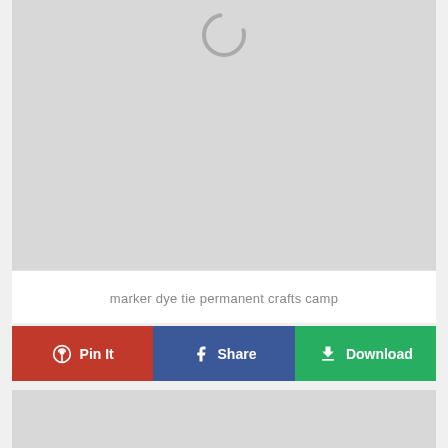[Figure (photo): Large gray image placeholder area with a spinning/loading circle indicator near the top center]
marker dye tie permanent crafts camp
Pin It | Share | Download
[Figure (photo): Second gray image placeholder area at the bottom of the page]